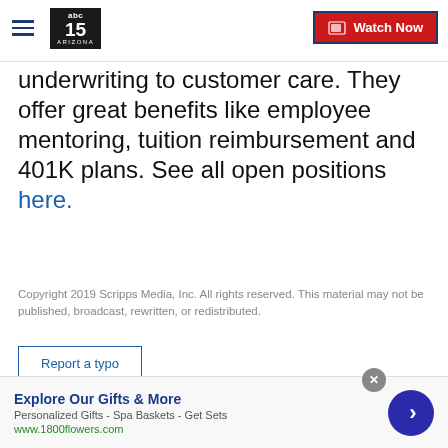ABC 15 Arizona — Watch Now
underwriting to customer care. They offer great benefits like employee mentoring, tuition reimbursement and 401K plans. See all open positions here.
Copyright 2019 Scripps Media, Inc. All rights reserved. This material may not be published, broadcast, rewritten, or redistributed.
Report a typo
Sign up for the Headlines Newsletter and receive up to date information.
Explore Our Gifts & More
Personalized Gifts - Spa Baskets - Get Sets
www.1800flowers.com